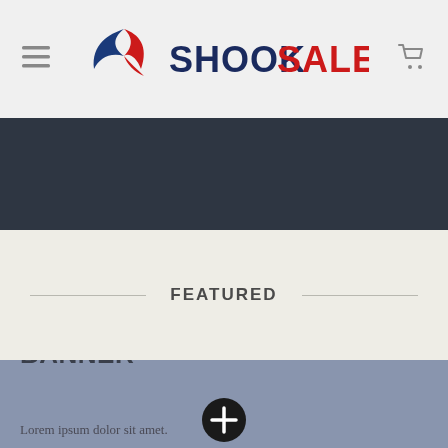[Figure (logo): ShookSales logo with stylized bird/fish icon in blue and red, next to bold text SHOOK in dark navy and SALES in red]
[Figure (other): Dark navy navigation bar]
FEATURED
[Figure (screenshot): Blue-gray banner section with a plus/add button circle icon and large bold text THIS IS A SIMPLE BANNER with Lorem ipsum subtitle text below]